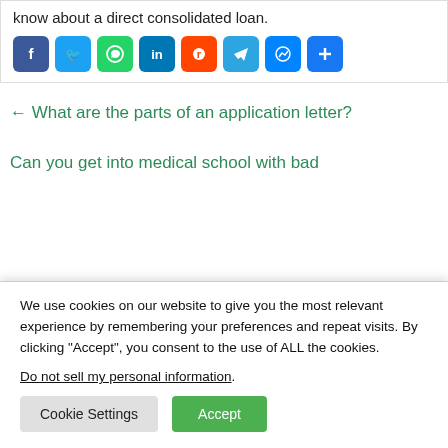circumstances. Here's what borrowers need to know about a direct consolidated loan.
[Figure (infographic): Social share buttons: Facebook, Twitter, WhatsApp, LinkedIn, Reddit, Telegram, Messenger, Share]
← What are the parts of an application letter?
Can you get into medical school with bad
We use cookies on our website to give you the most relevant experience by remembering your preferences and repeat visits. By clicking “Accept”, you consent to the use of ALL the cookies.
Do not sell my personal information.
Cookie Settings   Accept